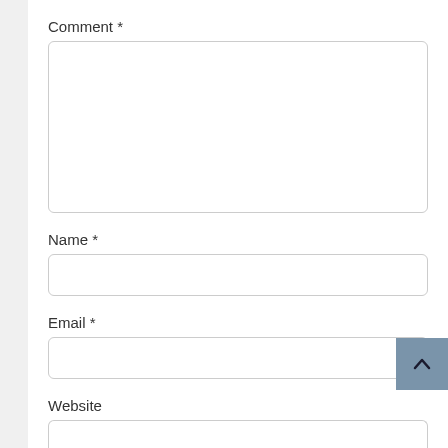Comment *
[Figure (screenshot): Empty comment textarea input box with rounded corners and light border]
Name *
[Figure (screenshot): Empty name text input box with rounded corners and light border]
Email *
[Figure (screenshot): Empty email text input box with rounded corners and light border, with a blue back-to-top button overlaid at bottom right]
Website
[Figure (screenshot): Partially visible empty website text input box at the bottom of the page]